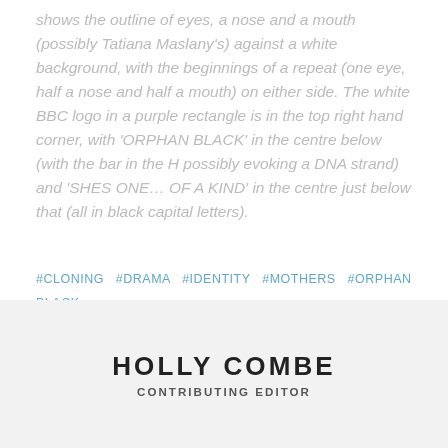shows the outline of eyes, a nose and a mouth (possibly Tatiana Maslany's) against a white background, with the beginnings of a repeat (one eye, half a nose and half a mouth) on either side. The white BBC logo in a purple rectangle is in the top right hand corner, with 'ORPHAN BLACK' in the centre below (with the bar in the H possibly evoking a DNA strand) and 'SHES ONE… OF A KIND' in the centre just below that (all in black capital letters).
#CLONING  #DRAMA  #IDENTITY  #MOTHERS  #ORPHAN BLACK  #REVIEWS  #SCIENCE FICTION  #TELEVISION  #TV
HOLLY COMBE
CONTRIBUTING EDITOR